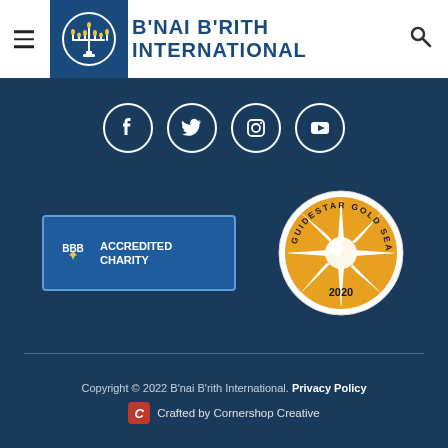[Figure (logo): B'nai B'rith International header with hamburger menu, menorah logo in dark blue box, organization name in bold dark blue text, and search icon]
[Figure (infographic): Social media icons in circular borders: Facebook, Twitter, Instagram, YouTube on dark navy background]
[Figure (logo): BBB Accredited Charity badge - blue rectangle with BBB logo and text 'ACCREDITED CHARITY']
[Figure (logo): GuideStar Gold Seal of Transparency 2020 - circular gold seal with star burst design]
Copyright © 2022 B'nai B'rith International. Privacy Policy
Crafted by Cornershop Creative